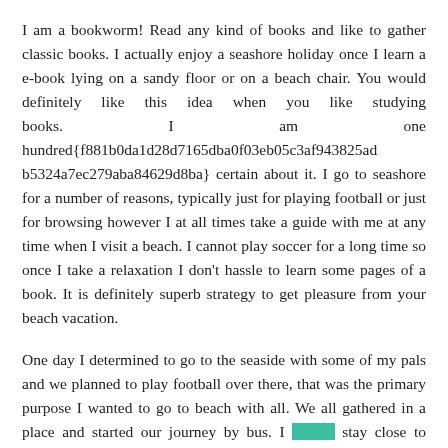I am a bookworm! Read any kind of books and like to gather classic books. I actually enjoy a seashore holiday once I learn a e-book lying on a sandy floor or on a beach chair. You would definitely like this idea when you like studying books. I am one hundred{f881b0da1d28d7165dba0f03eb05c3af943825ad b5324a7ec279aba84629d8ba} certain about it. I go to seashore for a number of reasons, typically just for playing football or just for browsing however I at all times take a guide with me at any time when I visit a beach. I cannot play soccer for a long time so once I take a relaxation I don't hassle to learn some pages of a book. It is definitely superb strategy to get pleasure from your beach vacation.
One day I determined to go to the seaside with some of my pals and we planned to play football over there, that was the primary purpose I wanted to go to beach with all. We all gathered in a place and started our journey by bus. I do not stay close to seaside, so to achieve on the beach we had to